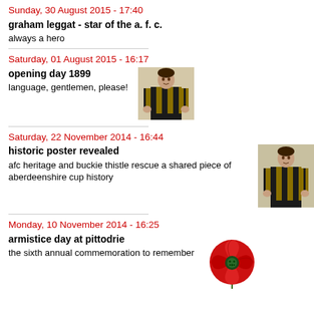Sunday, 30 August 2015 - 17:40
graham leggat - star of the a. f. c.
always a hero
Saturday, 01 August 2015 - 16:17
opening day 1899
language, gentlemen, please!
[Figure (photo): Footballer in black and gold striped jersey]
Saturday, 22 November 2014 - 16:44
historic poster revealed
afc heritage and buckie thistle rescue a shared piece of aberdeenshire cup history
[Figure (photo): Footballer in black and gold striped jersey, historic poster style]
Monday, 10 November 2014 - 16:25
armistice day at pittodrie
the sixth annual commemoration to remember
[Figure (photo): Red poppy flower]